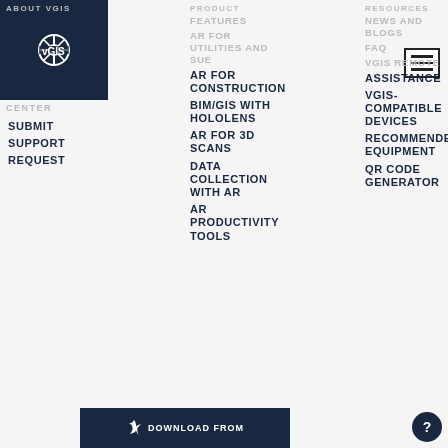[Figure (logo): vGIS logo: dark navy square with circular wheel icon and white text 'vGIS']
ABOUT VGIS
CENTER
SUBMIT SUPPORT REQUEST
PRODUCT
FEATURES
AR FOR UTILITIES AND SUE
AR FOR CONSTRUCTION
BIM/GIS WITH HOLOLENS
AR FOR 3D SCANS
DATA COLLECTION WITH AR
AR PRODUCTIVITY TOOLS
RESOURCES
NEWS AND BLOGS
FAQ
VGIS REMOTE ASSISTANCE
VGIS-COMPATIBLE DEVICES
RECOMMENDED EQUIPMENT
QR CODE GENERATOR
[Figure (other): Download from App Store button with Apple logo icon on dark navy background]